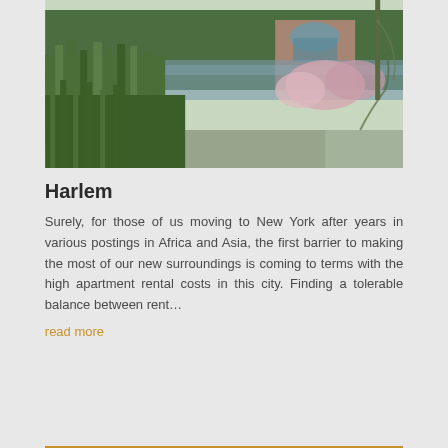[Figure (photo): Outdoor photo of a park or nature area near water, with tall green reeds and flowering shrubs in the foreground, a lake or pond in the middle ground, and a brick building with arched windows visible in the background, surrounded by trees.]
Harlem
Surely, for those of us moving to New York after years in various postings in Africa and Asia, the first barrier to making the most of our new surroundings is coming to terms with the high apartment rental costs in this city. Finding a tolerable balance between rent…
read more